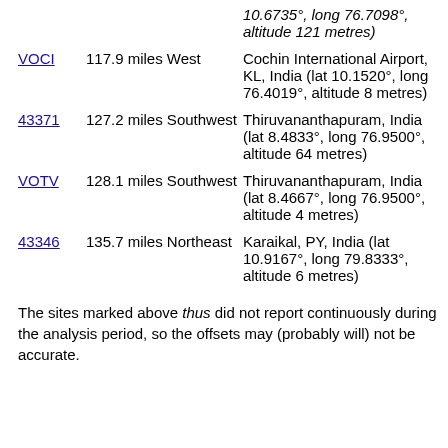| Code | Distance/Direction | Location |
| --- | --- | --- |
|  |  | 10.6735°, long 76.7098°, altitude 121 metres) |
| VOCI | 117.9 miles West | Cochin International Airport, KL, India (lat 10.1520°, long 76.4019°, altitude 8 metres) |
| 43371 | 127.2 miles Southwest | Thiruvananthapuram, India (lat 8.4833°, long 76.9500°, altitude 64 metres) |
| VOTV | 128.1 miles Southwest | Thiruvananthapuram, India (lat 8.4667°, long 76.9500°, altitude 4 metres) |
| 43346 | 135.7 miles Northeast | Karaikal, PY, India (lat 10.9167°, long 79.8333°, altitude 6 metres) |
The sites marked above thus did not report continuously during the analysis period, so the offsets may (probably will) not be accurate.